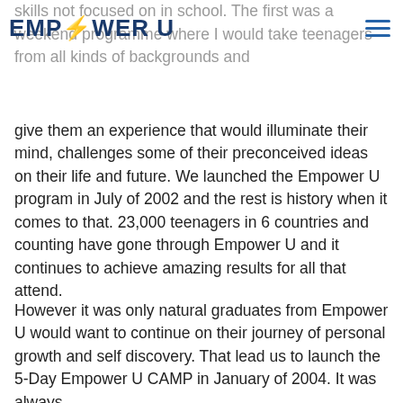EMP⚡WER U
skills not focused on in school. The first was a weekend programme where I would take teenagers from all kinds of backgrounds and give them an experience that would illuminate their mind, challenges some of their preconceived ideas on their life and future. We launched the Empower U program in July of 2002 and the rest is history when it comes to that. 23,000 teenagers in 6 countries and counting have gone through Empower U and it continues to achieve amazing results for all that attend.
However it was only natural graduates from Empower U would want to continue on their journey of personal growth and self discovery. That lead us to launch the 5-Day Empower U CAMP in January of 2004. It was always